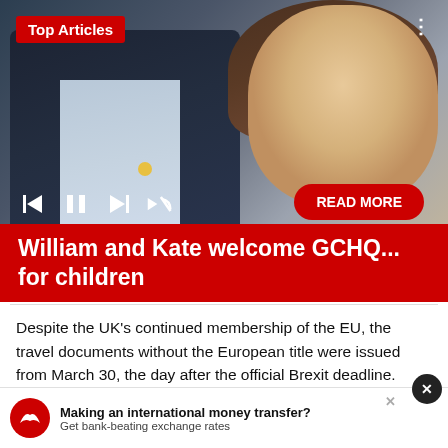[Figure (photo): Photo of two people — a man in a dark navy suit with a blue lapel pin and light blue shirt, and a woman with long brunette hair wearing a beige outfit. Media playback controls visible at bottom left.]
Top Articles
William and Kate welcome GCHQ... for children
Despite the UK's continued membership of the EU, the travel documents without the European title were issued from March 30, the day after the official Brexit deadline.
In news... siasts, the cla... the
Making an international money transfer? Get bank-beating exchange rates